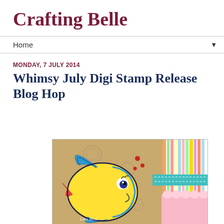Crafting Belle
Home ▼
MONDAY, 7 JULY 2014
Whimsy July Digi Stamp Release Blog Hop
[Figure (photo): A colorful handmade craft card featuring a cartoon yellow fish with blue fins and red accents, set against a tan/gold background with swirl patterns. The right side of the card shows colorful striped paper, a teal ribbon, and pink scalloped border. There is a white text/signature at the bottom.]